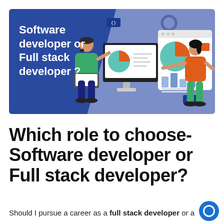[Figure (illustration): Banner illustration showing two developers with a monitor displaying a pie chart and a browser window with charts. Left dark blue area has white bold text: 'Software developer or Full stack developer?'. Right side is light purple/blue with illustrated characters and UI elements.]
Which role to choose- Software developer or Full stack developer?
Should I pursue a career as a full stack developer or a software developer? Is it this the most...